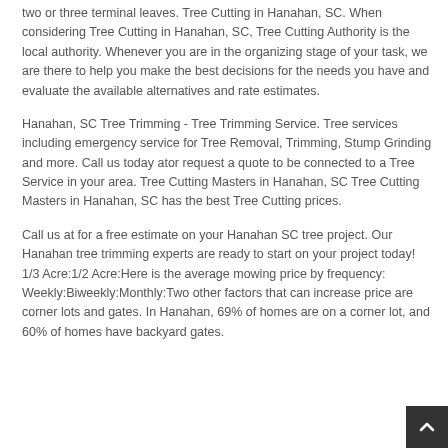two or three terminal leaves. Tree Cutting in Hanahan, SC. When considering Tree Cutting in Hanahan, SC, Tree Cutting Authority is the local authority. Whenever you are in the organizing stage of your task, we are there to help you make the best decisions for the needs you have and evaluate the available alternatives and rate estimates.
Hanahan, SC Tree Trimming - Tree Trimming Service. Tree services including emergency service for Tree Removal, Trimming, Stump Grinding and more. Call us today ator request a quote to be connected to a Tree Service in your area. Tree Cutting Masters in Hanahan, SC Tree Cutting Masters in Hanahan, SC has the best Tree Cutting prices.
Call us at for a free estimate on your Hanahan SC tree project. Our Hanahan tree trimming experts are ready to start on your project today! 1/3 Acre:1/2 Acre:Here is the average mowing price by frequency: Weekly:Biweekly:Monthly:Two other factors that can increase price are corner lots and gates. In Hanahan, 69% of homes are on a corner lot, and 60% of homes have backyard gates.